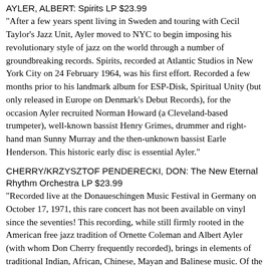AYLER, ALBERT: Spirits LP $23.99
"After a few years spent living in Sweden and touring with Cecil Taylor's Jazz Unit, Ayler moved to NYC to begin imposing his revolutionary style of jazz on the world through a number of groundbreaking records. Spirits, recorded at Atlantic Studios in New York City on 24 February 1964, was his first effort. Recorded a few months prior to his landmark album for ESP-Disk, Spiritual Unity (but only released in Europe on Denmark's Debut Records), for the occasion Ayler recruited Norman Howard (a Cleveland-based trumpeter), well-known bassist Henry Grimes, drummer and right-hand man Sunny Murray and the then-unknown bassist Earle Henderson. This historic early disc is essential Ayler."
CHERRY/KRZYSZTOF PENDERECKI, DON: The New Eternal Rhythm Orchestra LP $23.99
"Recorded live at the Donaueschingen Music Festival in Germany on October 17, 1971, this rare concert has not been available on vinyl since the seventies! This recording, while still firmly rooted in the American free jazz tradition of Ornette Coleman and Albert Ayler (with whom Don Cherry frequently recorded), brings in elements of traditional Indian, African, Chinese, Mayan and Balinese music. Of the three pieces found here, the first two are composed by Cherry and feature an international group of musicians reminiscent of Sun Ra's Arkestra (Cherry also recorded with Ra). His son, the three-year-old Eagle-Eye Cherry, and his wife Moki, can also be heard in some sections! The final piece are